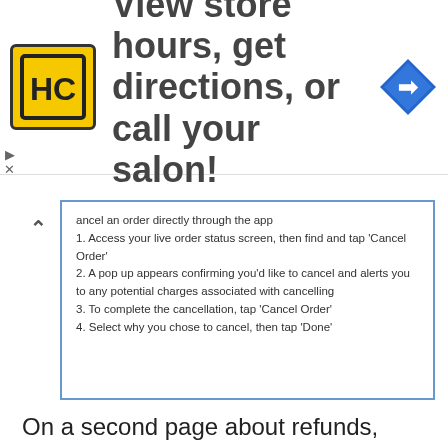[Figure (infographic): Advertisement banner with HC logo (yellow square with stylized HC letters), headline text 'View store hours, get directions, or call your salon!', and a blue navigation/directions diamond icon on the right. Small play and close (X) control buttons on the left side.]
[Figure (screenshot): Screenshot of Uber Eats app interface showing instructions to cancel an order directly through the app: 1. Access your live order status screen, then find and tap 'Cancel Order'. 2. A pop up appears confirming you'd like to cancel and alerts you to any potential charges associated with cancelling. 3. To complete the cancellation, tap 'Cancel Order'. 4. Select why you chose to cancel, then tap 'Done'.]
On a second page about refunds, after you cancel Uber Eats, customers are asked to enter an order number through an electronic form. This option allows them to start an Uber Eats customer service chat about a refund. However, this does make it possible to contact Uber Eats customer support through the help pages.
There is another way to send an Uber Eats customer service email through the company's help pages. If